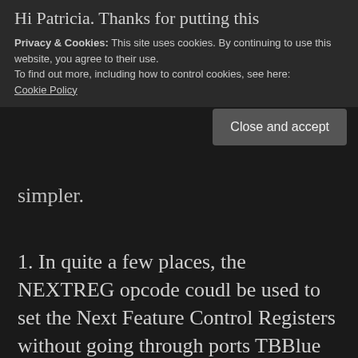Hi Patricia. Thanks for putting this
Privacy & Cookies: This site uses cookies. By continuing to use this website, you agree to their use.
To find out more, including how to control cookies, see here:
Cookie Policy
Close and accept
simpler.
1. In quite a few places, the NEXTREG opcode coudl be used to set the Next Feature Control Registers without going through ports TBBlue Register Select ($243B / 9275) and then the TBBlue Register Access ($253B / 9531). See https://wiki.specnext.dev/Extended_Z80_instruction_set